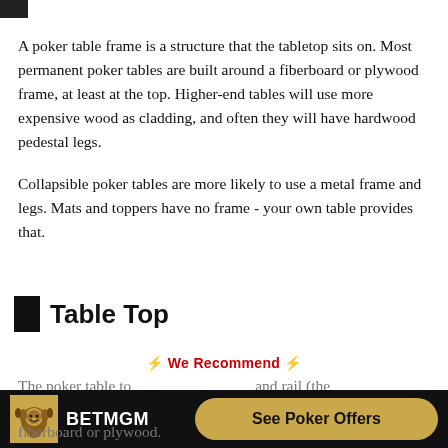[Figure (other): Small black square icon at top left]
A poker table frame is a structure that the tabletop sits on. Most permanent poker tables are built around a fiberboard or plywood frame, at least at the top. Higher-end tables will use more expensive wood as cladding, and often they will have hardwood pedestal legs.
Collapsible poker tables are more likely to use a metal frame and legs. Mats and toppers have no frame - your own table provides that.
Table Top
⚡ We Recommend ⚡
The poker table to... and rail (the
[Figure (other): BetMGM advertisement banner with lion logo and 'See Poker Offers' button]
fiberboard or plywood.